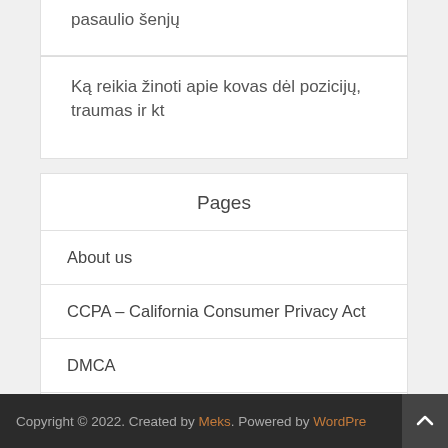pasaulio šenjų
Ką reikia žinoti apie kovas dėl pozicijų, traumas ir kt
Pages
About us
CCPA – California Consumer Privacy Act
DMCA
Privacy Policy
Terms of Use
Copyright © 2022. Created by Meks. Powered by WordPre